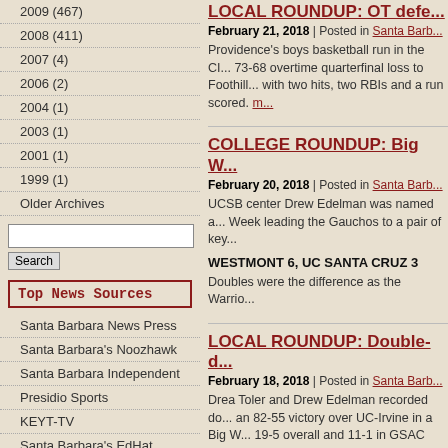2009 (467)
2008 (411)
2007 (4)
2006 (2)
2004 (1)
2003 (1)
2001 (1)
1999 (1)
Older Archives
Top News Sources
Santa Barbara News Press
Santa Barbara's Noozhawk
Santa Barbara Independent
Presidio Sports
KEYT-TV
Santa Barbara's EdHat
Montecito Journal
Ventura County Star
Noozhawk
LOCAL ROUNDUP: OT defe...
February 21, 2018 | Posted in Santa Barb...
Providence's boys basketball run in the CI... 73-68 overtime quarterfinal loss to Foothill... with two hits, two RBIs and a run scored. m...
COLLEGE ROUNDUP: Big W...
February 20, 2018 | Posted in Santa Barb...
UCSB center Drew Edelman was named a... Week leading the Gauchos to a pair of key...
WESTMONT 6, UC SANTA CRUZ 3
Doubles were the difference as the Warrio...
LOCAL ROUNDUP: Double-d...
February 18, 2018 | Posted in Santa Barb...
Drea Toler and Drew Edelman recorded do... an 82-55 victory over UC-Irvine in a Big W... 19-5 overall and 11-1 in GSAC play, won v... Lauren McCoy with 11 and Jae Ferrin with... Westmont dominated the boards by a 44-2...
Warriors trampled by No. 1 M...